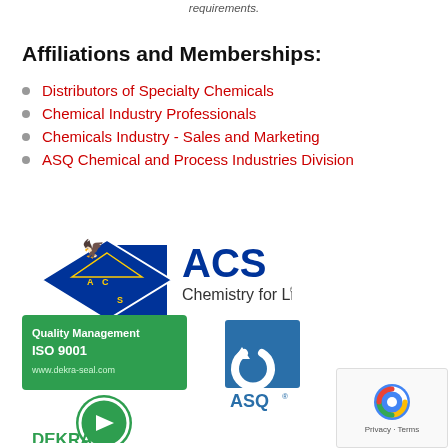requirements.
Affiliations and Memberships:
Distributors of Specialty Chemicals
Chemical Industry Professionals
Chemicals Industry - Sales and Marketing
ASQ Chemical and Process Industries Division
[Figure (logo): ACS Chemistry for Life logo with eagle and diamond shield]
[Figure (logo): Quality Management ISO 9001 DEKRA seal green certification logo]
[Figure (logo): ASQ logo blue square with circular arrow icon]
[Figure (logo): reCAPTCHA Privacy Terms badge]